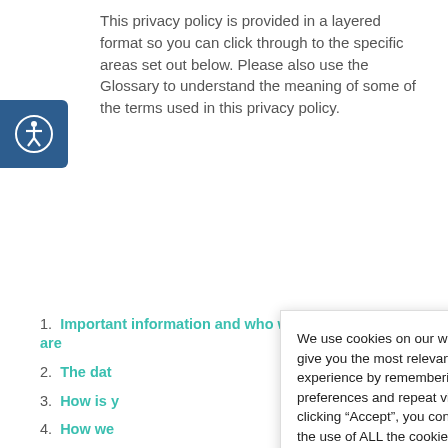This privacy policy is provided in a layered format so you can click through to the specific areas set out below. Please also use the Glossary to understand the meaning of some of the terms used in this privacy policy.
1. Important information and who we are
2. The da[ta we collect about you]
3. How is y[our data collected]
4. How we[use your personal data]
5. Disclosu[re of your personal data]
6. Internat[ional transfers]
7. Data Se[curity]
8. Data Re[tention]
9. Your leg[al rights]
10. Informa[tion about cookies]
11. Glossary
We use cookies on our website to give you the most relevant experience by remembering your preferences and repeat visits. By clicking “Accept”, you consent to the use of ALL the cookies.
Privacy Policy   Cookie settings
ACCEPT